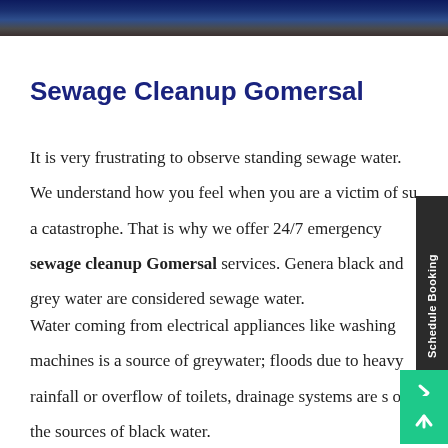[Figure (photo): Dark blue/brown textured header image banner at the top of the page]
Sewage Cleanup Gomersal
It is very frustrating to observe standing sewage water. We understand how you feel when you are a victim of such a catastrophe. That is why we offer 24/7 emergency sewage cleanup Gomersal services. Generally, black and grey water are considered sewage water.
Water coming from electrical appliances like washing machines is a source of greywater; floods due to heavy rainfall or overflow of toilets, drainage systems are some of the sources of black water.